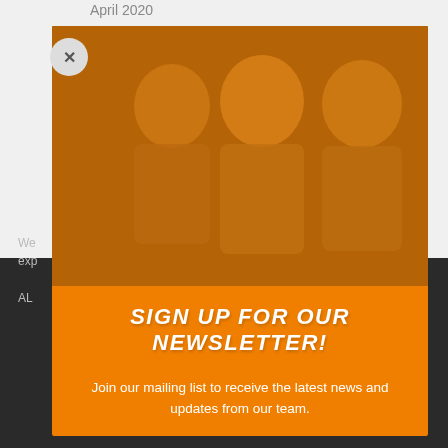April 2020
March 2020
[Figure (screenshot): Newsletter signup popup modal overlay with orange background, showing a photo of people (tinted orange), bold white italic text 'SIGN UP FOR OUR NEWSLETTER!' and subtext 'Join our mailing list to receive the latest news and updates from our team.' A close button (X) is shown in the top-left corner.]
Join our mailing list to receive the latest news and updates from our team.
We exp of AL